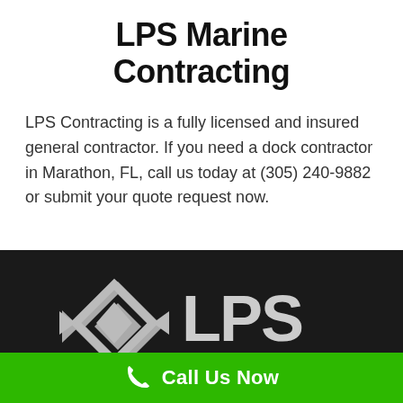LPS Marine Contracting
LPS Contracting is a fully licensed and insured general contractor. If you need a dock contractor in Marathon, FL, call us today at (305) 240-9882 or submit your quote request now.
[Figure (logo): LPS Contracting logo: diamond-shaped arrow icon on left, bold text 'LPS' on right, 'CONTRACTING' in smaller caps below, white on dark background]
Call Us Now